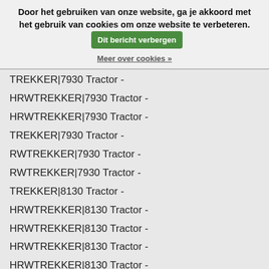Door het gebruiken van onze website, ga je akkoord met het gebruik van cookies om onze website te verbeteren. Dit bericht verbergen
Meer over cookies »
TREKKER|7930 Tractor - HRWTREKKER|7930 Tractor -
HRWTREKKER|7930 Tractor -
TREKKER|7930 Tractor -
RWTREKKER|7930 Tractor -
RWTREKKER|7930 Tractor -
TREKKER|8130 Tractor -
HRWTREKKER|8130 Tractor -
HRWTREKKER|8130 Tractor -
HRWTREKKER|8130 Tractor -
HRWTREKKER|8130 Tractor -
HRWTREKKER|8130 Tractor -
HRWTREKKER|8130 Tractor -
HRWTREKKER|8130 Tractor -
HRWTREKKER|8130 Tractor -
HRWTREKKER|8130 Tractor -
HRWTREKKER|8130 Tractor -